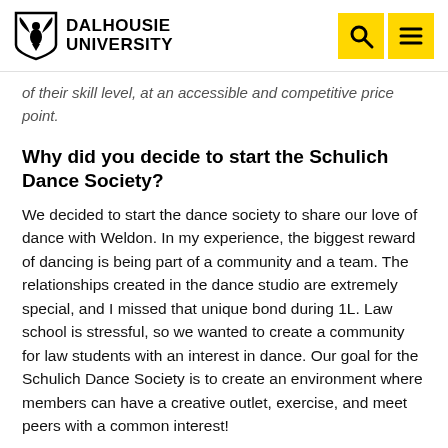DALHOUSIE UNIVERSITY
of their skill level, at an accessible and competitive price point.
Why did you decide to start the Schulich Dance Society?
We decided to start the dance society to share our love of dance with Weldon. In my experience, the biggest reward of dancing is being part of a community and a team. The relationships created in the dance studio are extremely special, and I missed that unique bond during 1L. Law school is stressful, so we wanted to create a community for law students with an interest in dance. Our goal for the Schulich Dance Society is to create an environment where members can have a creative outlet, exercise, and meet peers with a common interest!
What can members of the Schulich Dance Society expect?
The Schulich Dance Society will be offering drop-in dance classes every Saturday. Members can expect a variety of different genres, from ballet to contemporary to heels. Classes